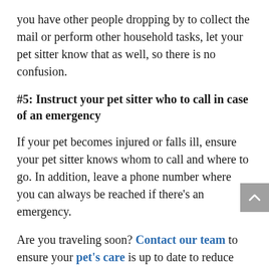you have other people dropping by to collect the mail or perform other household tasks, let your pet sitter know that as well, so there is no confusion.
#5: Instruct your pet sitter who to call in case of an emergency
If your pet becomes injured or falls ill, ensure your pet sitter knows whom to call and where to go. In addition, leave a phone number where you can always be reached if there's an emergency.
Are you traveling soon? Contact our team to ensure your pet's care is up to date to reduce the chances of an emergency while your pet sitter is on duty.